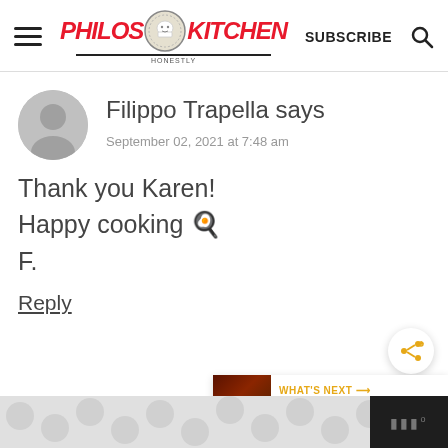Philos Kitchen — SUBSCRIBE
Filippo Trapella says
September 02, 2021 at 7:48 am
Thank you Karen! Happy cooking 🍳 F.
Reply